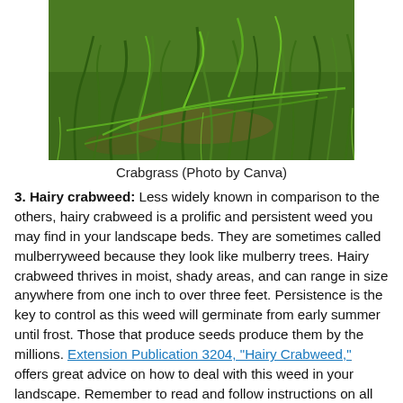[Figure (photo): Close-up photo of crabgrass growing in a lawn, showing spreading green grass blades]
Crabgrass (Photo by Canva)
3. Hairy crabweed: Less widely known in comparison to the others, hairy crabweed is a prolific and persistent weed you may find in your landscape beds. They are sometimes called mulberryweed because they look like mulberry trees. Hairy crabweed thrives in moist, shady areas, and can range in size anywhere from one inch to over three feet. Persistence is the key to control as this weed will germinate from early summer until frost. Those that produce seeds produce them by the millions. Extension Publication 3204, “Hairy Crabweed,” offers great advice on how to deal with this weed in your landscape. Remember to read and follow instructions on all pesticide labels for adequate...